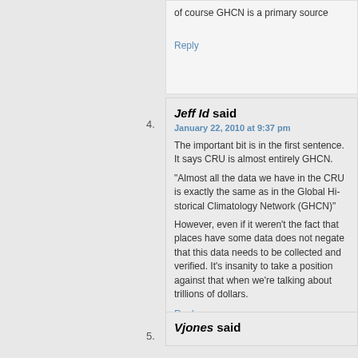of course GHCN is a primary source
Reply
4.
Jeff Id said
January 22, 2010 at 9:37 pm
The important bit is in the first sentence. It says CRU is almost entirely GHCN.
“Almost all the data we have in the CRU is exactly the same as in the Global Historical Climatology Network (GHCN)”
However, even if it weren't the fact that some places have some data does not negate that this data needs to be collected and verified. It's insanity to take a position against that when we're talking about trillions of dollars.
Reply
5.
Vjones said